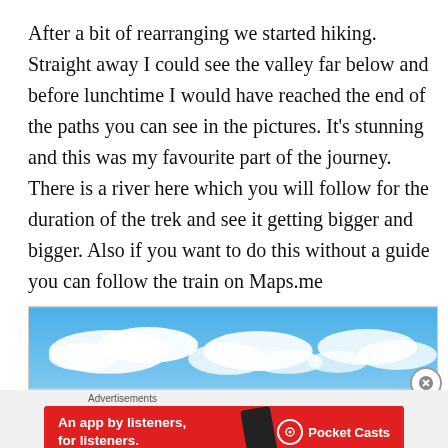After a bit of rearranging we started hiking. Straight away I could see the valley far below and before lunchtime I would have reached the end of the paths you can see in the pictures. It's stunning and this was my favourite part of the journey. There is a river here which you will follow for the duration of the trek and see it getting bigger and bigger. Also if you want to do this without a guide you can follow the train on Maps.me
[Figure (photo): Blue sky with white clouds, wide landscape photo used as part of an advertisement banner]
Advertisements
[Figure (screenshot): Red advertisement banner for Pocket Casts app reading 'An app by listeners, for listeners.' with Pocket Casts logo and a smartphone image]